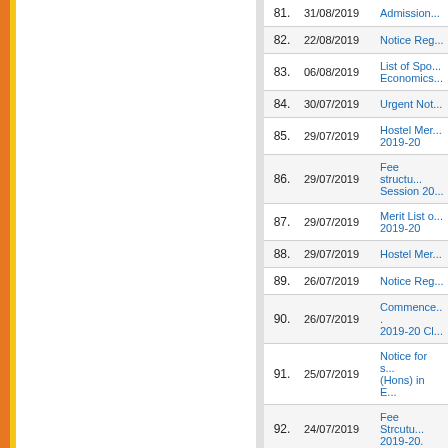| No. | Date | Title |
| --- | --- | --- |
| 81. | 31/08/2019 | Admission... |
| 82. | 22/08/2019 | Notice Reg... |
| 83. | 06/08/2019 | List of Spo... Economics... |
| 84. | 30/07/2019 | Urgent Not... |
| 85. | 29/07/2019 | Hostel Mer... 2019-20 |
| 86. | 29/07/2019 | Fee structu... Session 20... |
| 87. | 29/07/2019 | Merit List o... 2019-20 |
| 88. | 29/07/2019 | Hostel Mer... |
| 89. | 26/07/2019 | Notice Reg... |
| 90. | 26/07/2019 | Commence... 2019-20 Cl... |
| 91. | 25/07/2019 | Notice for s... (Hons) in E... |
| 92. | 24/07/2019 | Fee Strcutu... 2019-20. |
| 93. | 24/07/2019 | Merit List o... |